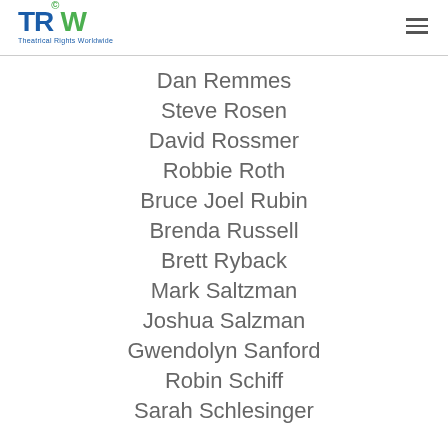TRW Theatrical Rights Worldwide
Dan Remmes
Steve Rosen
David Rossmer
Robbie Roth
Bruce Joel Rubin
Brenda Russell
Brett Ryback
Mark Saltzman
Joshua Salzman
Gwendolyn Sanford
Robin Schiff
Sarah Schlesinger